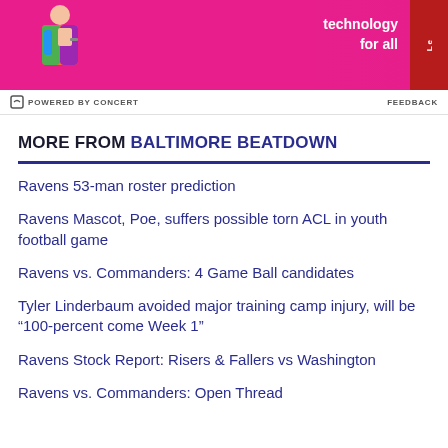[Figure (photo): Advertisement banner with pink/magenta background showing a person holding a laptop, with text 'technology for all' and Lenovo branding]
POWERED BY CONCERT   FEEDBACK
MORE FROM BALTIMORE BEATDOWN
Ravens 53-man roster prediction
Ravens Mascot, Poe, suffers possible torn ACL in youth football game
Ravens vs. Commanders: 4 Game Ball candidates
Tyler Linderbaum avoided major training camp injury, will be “100-percent come Week 1”
Ravens Stock Report: Risers & Fallers vs Washington
Ravens vs. Commanders: Open Thread